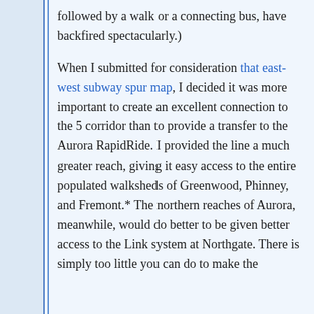followed by a walk or a connecting bus, have backfired spectacularly.)
When I submitted for consideration that east-west subway spur map, I decided it was more important to create an excellent connection to the 5 corridor than to provide a transfer to the Aurora RapidRide. I provided the line a much greater reach, giving it easy access to the entire populated walksheds of Greenwood, Phinney, and Fremont.* The northern reaches of Aurora, meanwhile, would do better to be given better access to the Link system at Northgate. There is simply too little you can do to make the